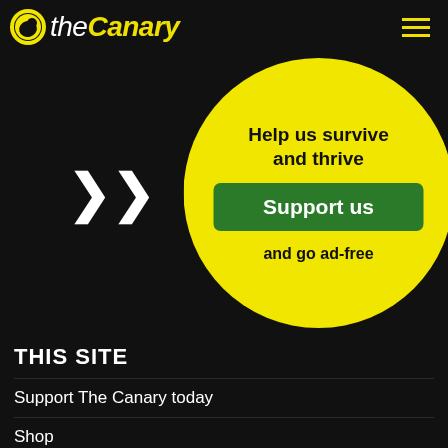theCanary
[Figure (infographic): Yellow circle with white chevron arrows pointing right, containing the text 'Help us survive and thrive', a green 'Support us' button, and 'and go ad-free' text below]
THIS SITE
Support The Canary today
Shop
Tip-offs
Contact